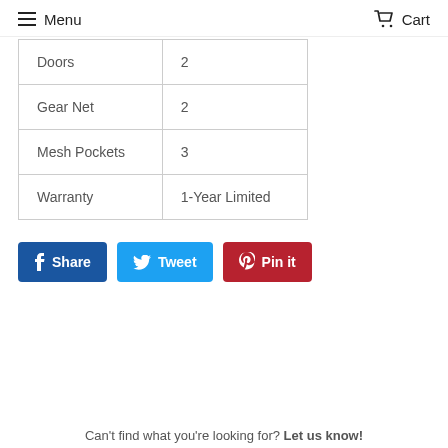Menu   Cart
| Doors | 2 |
| Gear Net | 2 |
| Mesh Pockets | 3 |
| Warranty | 1-Year Limited |
[Figure (infographic): Social share buttons: Facebook Share (blue), Twitter Tweet (light blue), Pinterest Pin it (red)]
Can't find what you're looking for? Let us know!